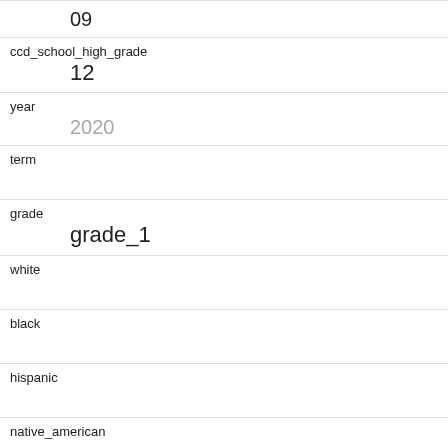| Field | Value |
| --- | --- |
| (continued) | 09 |
| ccd_school_high_grade | 12 |
| year | 2020 |
| term |  |
| grade | grade_1 |
| white |  |
| black |  |
| hispanic |  |
| native_american |  |
| native_american_alaskan_native |  |
| asian |  |